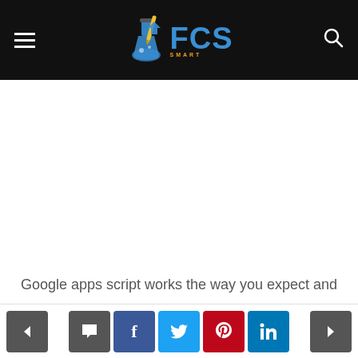FCS Smart — navigation header with hamburger menu, FCS logo, and search icon
[Figure (other): Large white advertisement/content area below header]
Google apps script works the way you expect and
Navigation bar with previous/next arrows and social share buttons: comment, Facebook, Twitter, Pinterest, LinkedIn